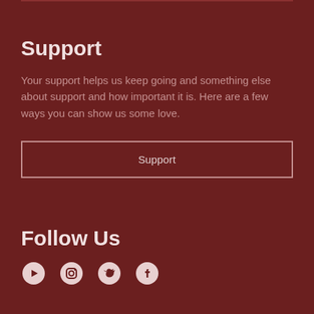Support
Your support helps us keep going and something else about support and how important it is. Here are a few ways you can show us some love.
Support
Follow Us
[Figure (illustration): Social media icons row: YouTube, Instagram, Twitter, Facebook]